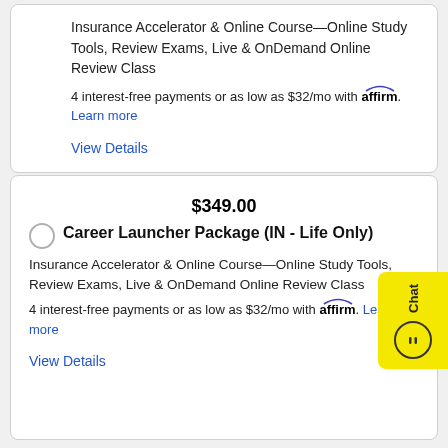Insurance Accelerator & Online Course—Online Study Tools, Review Exams, Live & OnDemand Online Review Class
4 interest-free payments or as low as $32/mo with affirm. Learn more
View Details
$349.00
Career Launcher Package (IN - Life Only)
Insurance Accelerator & Online Course—Online Study Tools, Review Exams, Live & OnDemand Online Review Class
4 interest-free payments or as low as $32/mo with affirm. Learn more
View Details